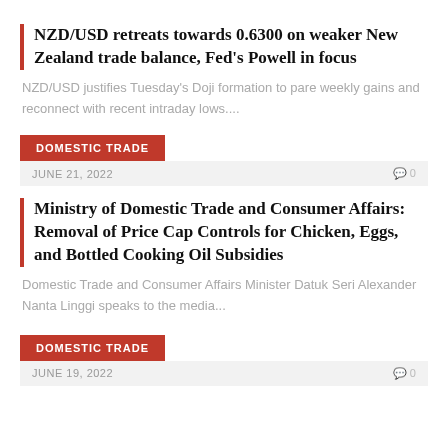NZD/USD retreats towards 0.6300 on weaker New Zealand trade balance, Fed's Powell in focus
NZD/USD justifies Tuesday's Doji formation to pare weekly gains and reconnect with recent intraday lows....
DOMESTIC TRADE
JUNE 21, 2022
0
Ministry of Domestic Trade and Consumer Affairs: Removal of Price Cap Controls for Chicken, Eggs, and Bottled Cooking Oil Subsidies
Domestic Trade and Consumer Affairs Minister Datuk Seri Alexander Nanta Linggi speaks to the media...
DOMESTIC TRADE
JUNE 19, 2022
0